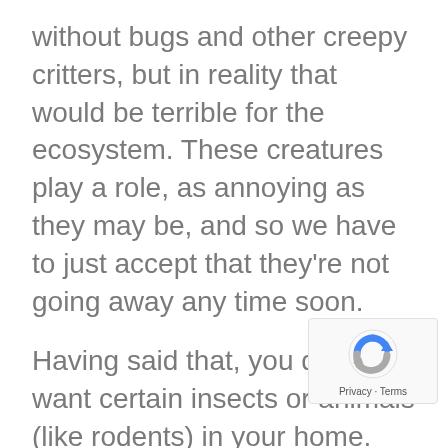without bugs and other creepy critters, but in reality that would be terrible for the ecosystem. These creatures play a role, as annoying as they may be, and so we have to just accept that they're not going away any time soon.
Having said that, you don't want certain insects or animals (like rodents) in your home. That's perfectly understandable. And while you might encounter the occasional unwanted intruder, in many cases it's just a lone critter and not an overwhelming threat.
[Figure (logo): Google reCAPTCHA badge with Privacy and Terms links]
But it is definitely possible to experience a